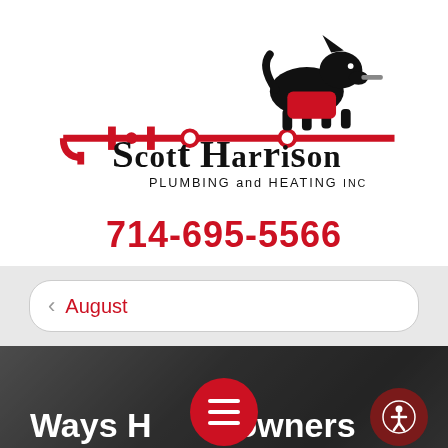[Figure (logo): Scott Harrison Plumbing and Heating Inc. logo featuring a cartoon Scottie dog in red overalls running along a red pipe, with stylized text 'Scott Harrison Plumbing and Heating Inc.']
714-695-5566
August
Ways Homeowners Waste Water Daily